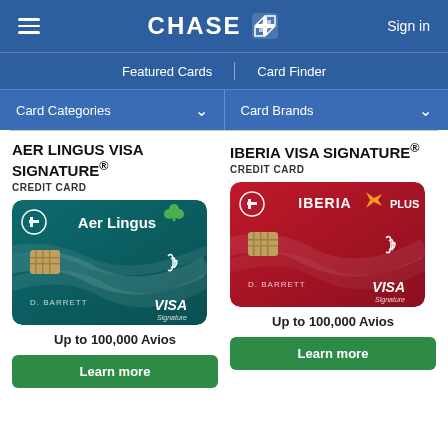CHASE | Featured Cards | Card Finder | Card Categories | Card Brands | Sign in
AER LINGUS VISA SIGNATURE® CREDIT CARD
[Figure (illustration): Aer Lingus Visa Signature credit card — teal/dark green card with Aer Lingus shamrock logo, chip, contactless symbol, cardholder name D. BARRETT, VISA Signature branding]
Up to 100,000 Avios
Learn more
IBERIA VISA SIGNATURE® CREDIT CARD
[Figure (illustration): Iberia Visa Signature credit card — red card with IBERIA PLUS logo and orange bird, chip, contactless symbol, cardholder name D. BARRETT, VISA Signature branding]
Up to 100,000 Avios
Learn more